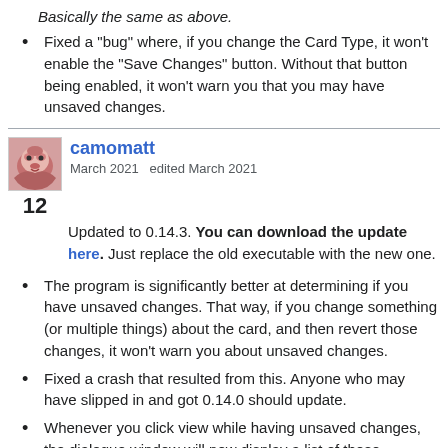Basically the same as above.
Fixed a "bug" where, if you change the Card Type, it won't enable the "Save Changes" button. Without that button being enabled, it won't warn you that you may have unsaved changes.
camomatt
March 2021   edited March 2021
12
Updated to 0.14.3. You can download the update here. Just replace the old executable with the new one.
The program is significantly better at determining if you have unsaved changes. That way, if you change something (or multiple things) about the card, and then revert those changes, it won't warn you about unsaved changes.
Fixed a crash that resulted from this. Anyone who may have slipped in and got 0.14.0 should update.
Whenever you click view while having unsaved changes, the dialogue window will now display a list of those unsaved changes. Not a big change, but once again, anyone who slipped in and got 0.14.1 may